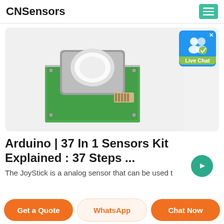CNSensors
[Figure (photo): Green circuit board with a gray cylindrical sensor module mounted on top, with a ribbon connector, photographed on a light gray background.]
[Figure (other): Live Chat widget button with two person icons and a green checkmark badge.]
Arduino | 37 In 1 Sensors Kit Explained : 37 Steps ...
The JoyStick is a analog sensor that can be used t...
Get a Quote
WhatsApp
Chat Now